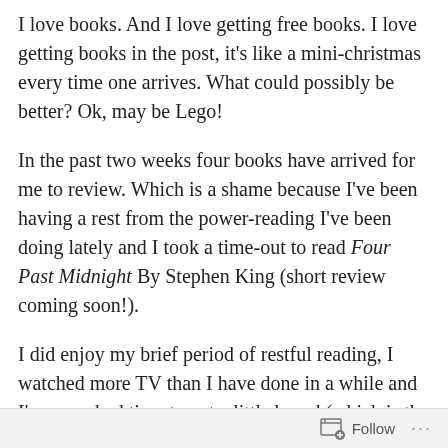I love books. And I love getting free books. I love getting books in the post, it's like a mini-christmas every time one arrives. What could possibly be better? Ok, may be Lego!
In the past two weeks four books have arrived for me to review. Which is a shame because I've been having a rest from the power-reading I've been doing lately and I took a time-out to read Four Past Midnight By Stephen King (short review coming soon!).
I did enjoy my brief period of restful reading, I watched more TV than I have done in a while and I've even had time to get a little bored (which is the sign of an active mind according to some expert).
When I used to get free books in the old days it was
Follow ···